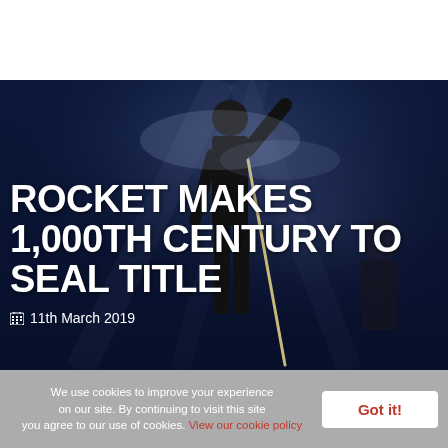[Figure (photo): Sports/snooker player standing with a cue against dramatic blue-lit smoky background, crowd visible to the right]
ROCKET MAKES 1,000TH CENTURY TO SEAL TITLE
11th March 2019
We use cookies to improve your experience on our site. By continuing to visit this site you agree to our use of cookies. View our cookie policy